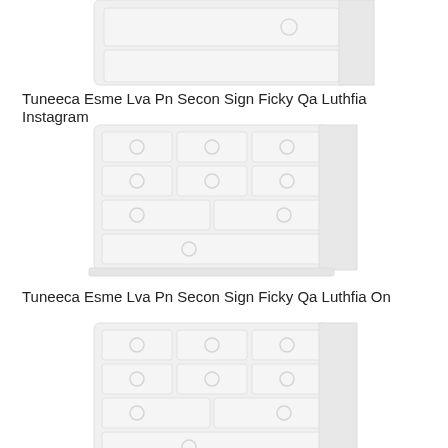[Figure (illustration): White dresser/chest of drawers, top portion partially visible, light gray tone on white background]
Tuneeca Esme Lva Pn Secon Sign Ficky Qa Luthfia Instagram
[Figure (illustration): White dresser/chest of drawers with multiple drawers and round handles, full view, light gray tone on white background]
Tuneeca Esme Lva Pn Secon Sign Ficky Qa Luthfia On
[Figure (illustration): White dresser/chest of drawers with multiple drawers and round handles, full view, light gray tone on white background, partially cut off at bottom]